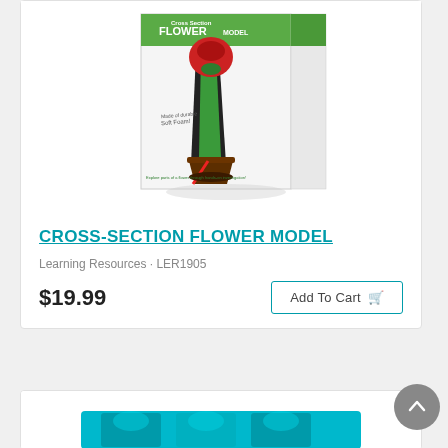[Figure (photo): Cross-Section Flower Model product box showing a foam flower model with visible cross-section, in a white box with green banner and red flower top]
CROSS-SECTION FLOWER MODEL
Learning Resources · LER1905
$19.99
Add To Cart
[Figure (photo): Partial view of a second product card at the bottom of the page showing colorful product imagery]